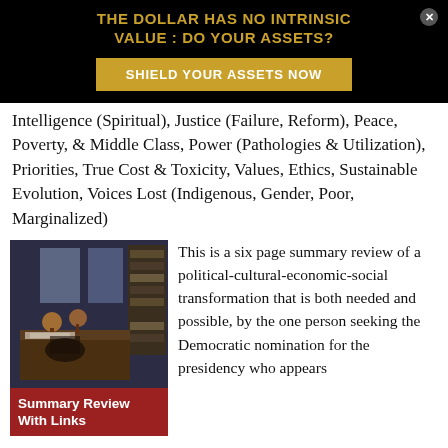[Figure (other): Advertisement banner with black background showing gold text 'THE DOLLAR HAS NO INTRINSIC VALUE : DO YOUR ASSETS?' and a gold button 'SHIELD YOUR ASSETS NOW' with a close X button]
Intelligence (Spiritual), Justice (Failure, Reform), Peace, Poverty, & Middle Class, Power (Pathologies & Utilization), Priorities, True Cost & Toxicity, Values, Ethics, Sustainable Evolution, Voices Lost (Indigenous, Gender, Poor, Marginalized)
[Figure (photo): Photo of a study/library room with desk, lamps, bookshelves, and windows. Below the photo is a red banner with white bold text 'Summary Review With Links']
This is a six page summary review of a political-cultural-economic-social transformation that is both needed and possible, by the one person seeking the Democratic nomination for the presidency who appears